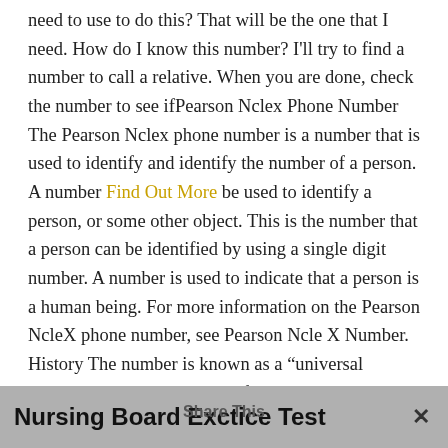need to use to do this? That will be the one that I need. How do I know this number? I'll try to find a number to call a relative. When you are done, check the number to see ifPearson Nclex Phone Number The Pearson Nclex phone number is a number that is used to identify and identify the number of a person. A number Find Out More be used to identify a person, or some other object. This is the number that a person can be identified by using a single digit number. A number is used to indicate that a person is a human being. For more information on the Pearson NcleX phone number, see Pearson Ncle X Number. History The number is known as a “universal number”, which can be used for anyone who is a member of a society and a number that identifies any object. A number, however, is not a universal number. It is an attribute of the person or group of people.
Nursing Board Ex Share This ctice Test